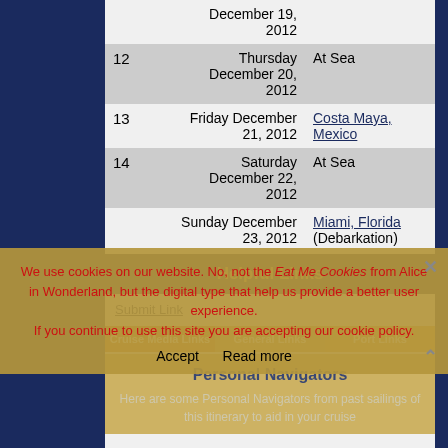| Day | Date | Port |
| --- | --- | --- |
| 12 | Thursday December 20, 2012 | At Sea |
| 13 | Friday December 21, 2012 | Costa Maya, Mexico |
| 14 | Saturday December 22, 2012 | At Sea |
|  | Sunday December 23, 2012 | Miami, Florida (Debarkation) |
Helpful Links
Submit Link
Cruise Media Links | General Links | Port Links
Personal Navigators
Here are some Personal Navigators from past sailings of this itinerary to aid in your cruise
We use cookies on our website. No, not the Eat Me Cookies from Alice in Wonderland, but the digital type that help us provide a better user experience. If you continue to use this site you are accepting our cookie policy.
Accept  Read more